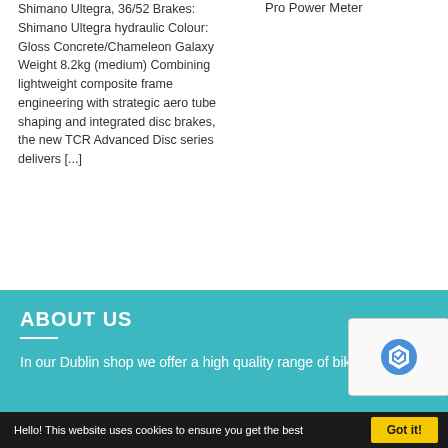Shimano Ultegra, 36/52 Brakes: Shimano Ultegra hydraulic Colour: Gloss Concrete/Chameleon Galaxy Weight 8.2kg (medium) Combining lightweight composite frame engineering with strategic aero tube shaping and integrated disc brakes, the new TCR Advanced Disc series delivers [...]
Pro Power Meter
ABOUT US
In our Dublin shop we offer a high quality range of bik
Hello! This website uses cookies to ensure you get the best